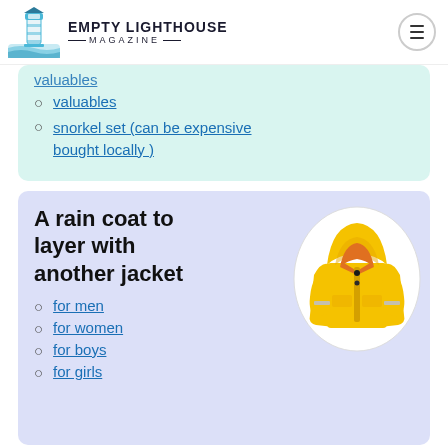EMPTY LIGHTHOUSE MAGAZINE
valuables
snorkel set (can be expensive bought locally )
A rain coat to layer with another jacket
[Figure (photo): Yellow children's rain jacket with reflective strips and hood, displayed on white oval background]
for men
for women
for boys
for girls